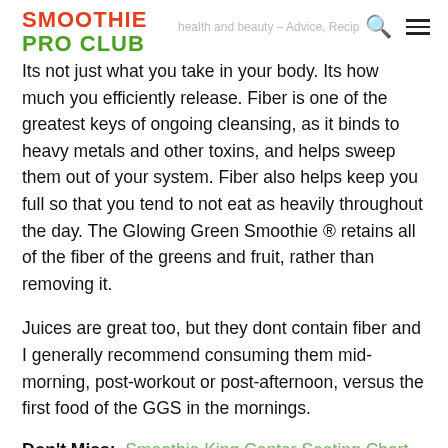SMOOTHIE PRO CLUB — health and beauty — [tagline partial]
Its not just what you take in your body. Its how much you efficiently release. Fiber is one of the greatest keys of ongoing cleansing, as it binds to heavy metals and other toxins, and helps sweep them out of your system. Fiber also helps keep you full so that you tend to not eat as heavily throughout the day. The Glowing Green Smoothie ® retains all of the fiber of the greens and fruit, rather than removing it.
Juices are great too, but they dont contain fiber and I generally recommend consuming them mid-morning, post-workout or post-afternoon, versus the first food of the GGS in the mornings.
Don't Miss:  Smoothie King Center Seating Chart